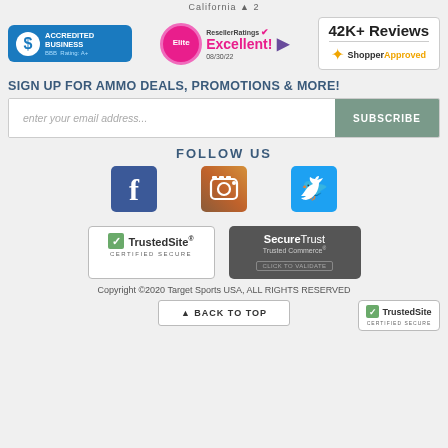California ▲ 2
[Figure (logo): BBB Accredited Business badge, Rating A+]
[Figure (logo): ResellerRatings Elite Excellent! 08/30/22 badge]
[Figure (logo): 42K+ Reviews ShopperApproved badge]
SIGN UP FOR AMMO DEALS, PROMOTIONS & MORE!
enter your email address...
SUBSCRIBE
FOLLOW US
[Figure (logo): Facebook icon]
[Figure (logo): Instagram icon]
[Figure (logo): Twitter icon]
[Figure (logo): TrustedSite Certified Secure badge]
[Figure (logo): SecureTrust Trusted Commerce Click to Validate badge]
Copyright ©2020 Target Sports USA, ALL RIGHTS RESERVED
▲ BACK TO TOP
[Figure (logo): TrustedSite Certified Secure badge (corner)]